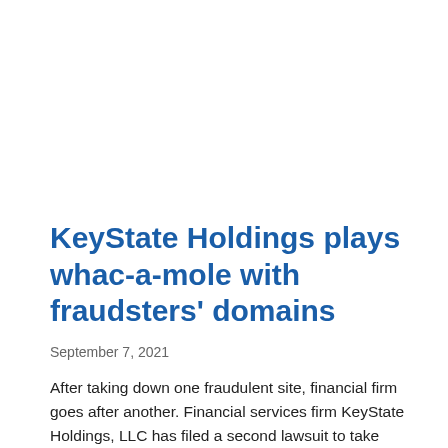KeyState Holdings plays whac-a-mole with fraudsters' domains
September 7, 2021
After taking down one fraudulent site, financial firm goes after another. Financial services firm KeyState Holdings, LLC has filed a second lawsuit to take down a domain name that fraudsters are using to dupe people into sending money. In July